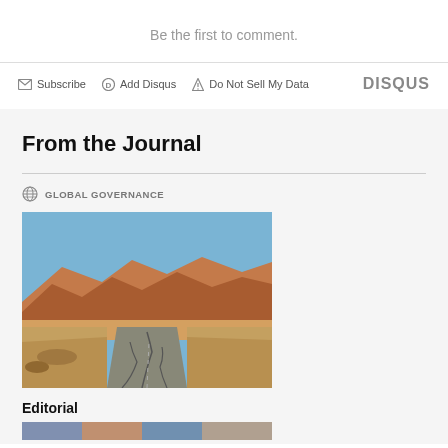Be the first to comment.
Subscribe  Add Disqus  Do Not Sell My Data  DISQUS
From the Journal
GLOBAL GOVERNANCE
[Figure (photo): A cracked desert road winding toward red rock mountain formations under a blue sky]
Editorial
[Figure (photo): Partial view of a colorful image strip at bottom of page]